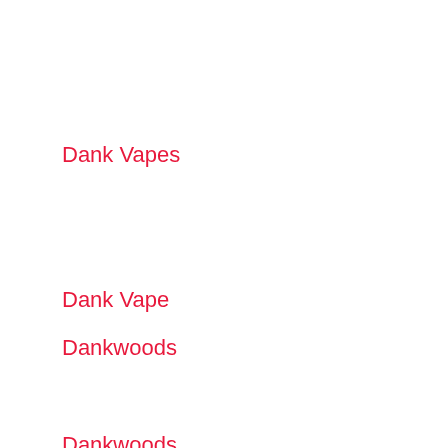Dank Vapes
Dank Vape
Dankwoods
Dank Woods
Dankwood
Dank Wood